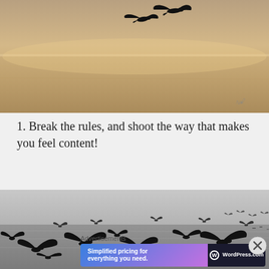[Figure (photo): Two birds in flight silhouetted against a soft golden-tan sky and water, minimalist composition]
1. Break the rules, and shoot the way that makes you feel content!
[Figure (photo): Black and white photograph of a large flock of birds (seagulls/cormorants) flying and skimming over water surface]
Advertisements
[Figure (other): WordPress.com advertisement banner: 'Simplified pricing for everything you need.' on gradient blue-purple background with WordPress.com logo]